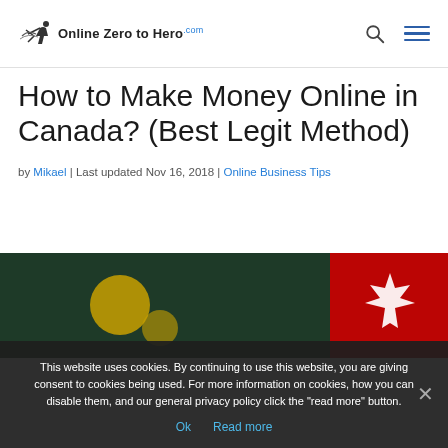Online Zero to Hero
How to Make Money Online in Canada? (Best Legit Method)
by Mikael | Last updated Nov 16, 2018 | Online Business Tips
[Figure (photo): Partial view of an image related to making money online in Canada, showing green/teal background with circular shapes and a Canadian flag maple leaf on the right.]
This website uses cookies. By continuing to use this website, you are giving consent to cookies being used. For more information on cookies, how you can disable them, and our general privacy policy click the "read more" button.
Ok   Read more